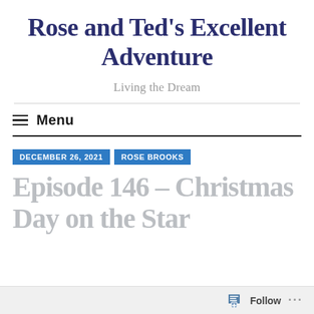Rose and Ted's Excellent Adventure
Living the Dream
Menu
DECEMBER 26, 2021
ROSE BROOKS
Episode 146 – Christmas Day on the Star
Follow